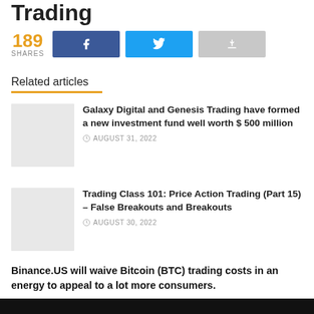Trading
189 SHARES
Related articles
Galaxy Digital and Genesis Trading have formed a new investment fund well worth $ 500 million
AUGUST 31, 2022
Trading Class 101: Price Action Trading (Part 15) – False Breakouts and Breakouts
AUGUST 30, 2022
Binance.US will waive Bitcoin (BTC) trading costs in an energy to appeal to a lot more consumers.
[Figure (photo): Dark image at bottom of page]